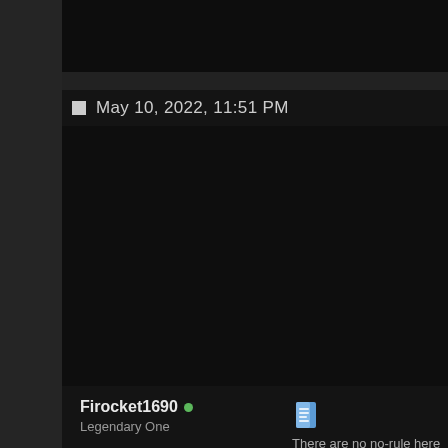May 10, 2022, 11:51 PM
Firocket1690
Legendary One
There are no no-rule here